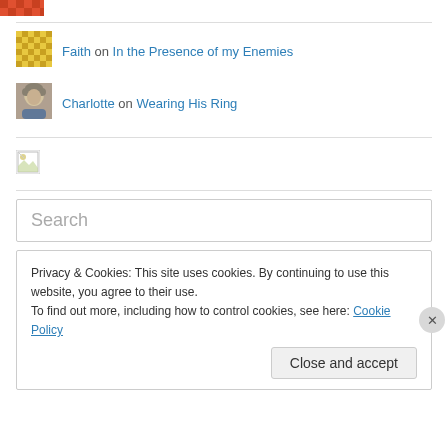[Figure (other): Partial pixel art avatar at top of page (cropped)]
[Figure (other): Yellow/gold square pixel art avatar for user Faith]
Faith on In the Presence of my Enemies
[Figure (photo): Photo avatar of Charlotte, a person with curly hair]
Charlotte on Wearing His Ring
[Figure (other): Small broken/placeholder image icon]
Search
Privacy & Cookies: This site uses cookies. By continuing to use this website, you agree to their use.
To find out more, including how to control cookies, see here: Cookie Policy
Close and accept